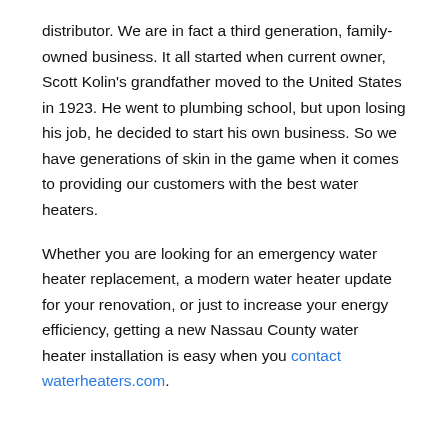distributor. We are in fact a third generation, family-owned business. It all started when current owner, Scott Kolin's grandfather moved to the United States in 1923. He went to plumbing school, but upon losing his job, he decided to start his own business. So we have generations of skin in the game when it comes to providing our customers with the best water heaters.
Whether you are looking for an emergency water heater replacement, a modern water heater update for your renovation, or just to increase your energy efficiency, getting a new Nassau County water heater installation is easy when you contact waterheaters.com.